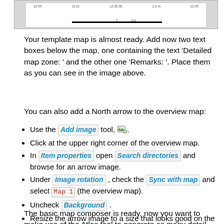[Figure (screenshot): Screenshot of a map composer layout showing a scale bar with numbers and a horizontal black bar.]
Your template map is almost ready. Add now two text boxes below the map, one containing the text 'Detailed map zone: ' and the other one 'Remarks: '. Place them as you can see in the image above.
You can also add a North arrow to the overview map:
Use the Add image tool, [icon].
Click at the upper right corner of the overview map.
In Item properties open Search directories and browse for an arrow image.
Under Image rotation , check the Sync with map and select Map 1 (the overview map).
Uncheck Background .
Resize the arrow image to a size that looks good on the small map.
The basic map composer is ready, now you want to make use of the Atlas tool to generate as many detail maps in this format